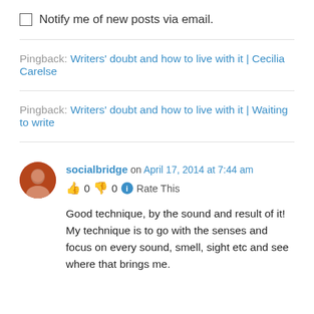Notify me of new posts via email.
Pingback: Writers' doubt and how to live with it | Cecilia Carelse
Pingback: Writers' doubt and how to live with it | Waiting to write
socialbridge on April 17, 2014 at 7:44 am
👍 0 👎 0 ℹ Rate This
Good technique, by the sound and result of it! My technique is to go with the senses and focus on every sound, smell, sight etc and see where that brings me.